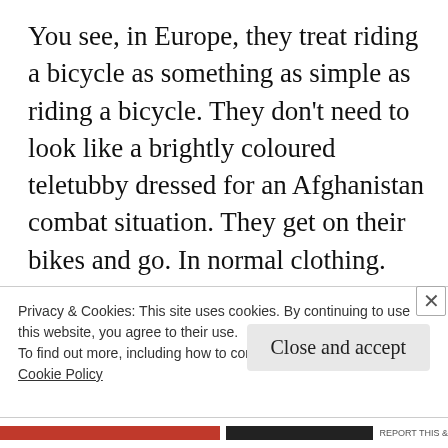You see, in Europe, they treat riding a bicycle as something as simple as riding a bicycle. They don't need to look like a brightly coloured teletubby dressed for an Afghanistan combat situation. They get on their bikes and go. In normal clothing. Most don't even regard themselves as 'cyclists' as the bicycle is just a mode of transport. To get from A to B. Simply. In some European countries, they've created an environment where the wearing of a
Privacy & Cookies: This site uses cookies. By continuing to use this website, you agree to their use.
To find out more, including how to control cookies, see here:
Cookie Policy
Close and accept